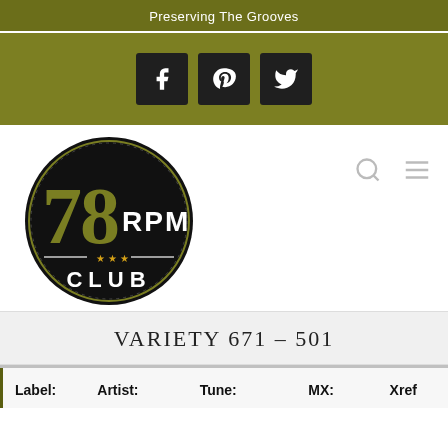Preserving The Grooves
[Figure (logo): Social media icons bar with Facebook, Pinterest, and Twitter icons on olive/dark yellow background]
[Figure (logo): 78 RPM Club circular logo — black circle with dotted border, olive green '78 RPM' text and 'CLUB' text with gold stars]
VARIETY 671 – 501
| Label: | Artist: | Tune: | MX: | Xref |
| --- | --- | --- | --- | --- |